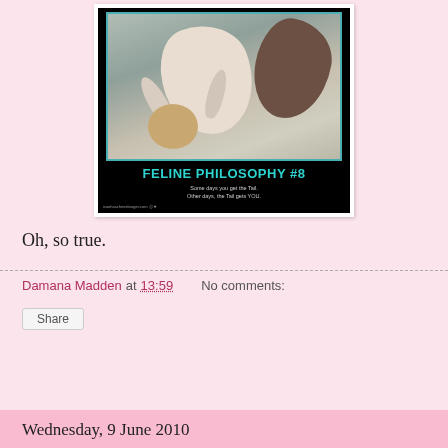[Figure (photo): A motivational/humorous meme image with a black background showing a cat rolling or flipping on a light blue-gray surface with another cat visible at the right edge. Title text reads 'FELINE PHILOSOPHY #8' in teal/cyan bold letters. Subtitle reads 'Some days you get the Tail. Other days, the Tail gets YOU.' with a website URL at the bottom.]
Oh, so true.
Damana Madden at 13:59    No comments:
Share
Wednesday, 9 June 2010